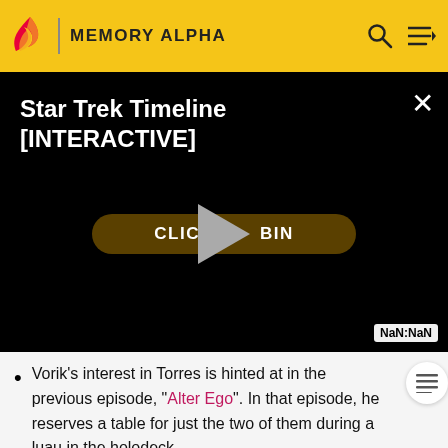MEMORY ALPHA
[Figure (screenshot): Star Trek Timeline [INTERACTIVE] video player with black background, a dark gold rounded button partially obscured by a gray play triangle in the center, and NaN:NaN timestamp label in bottom right corner]
Vorik's interest in Torres is hinted at in the previous episode, "Alter Ego". In that episode, he reserves a table for just the two of them during a luau in the holodeck.
This episode considerably develops the relationship